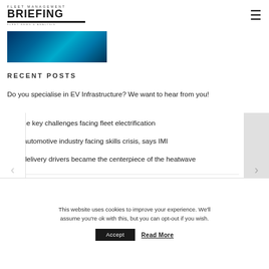FLEET MANAGEMENT BRIEFING — Fleet News & Analysis
[Figure (photo): Blue abstract background banner image]
RECENT POSTS
Do you specialise in EV Infrastructure? We want to hear from you!
4 of the key challenges facing fleet electrification
UK's automotive industry facing skills crisis, says IMI
How delivery drivers became the centerpiece of the heatwave
This website uses cookies to improve your experience. We'll assume you're ok with this, but you can opt-out if you wish.
Accept  Read More